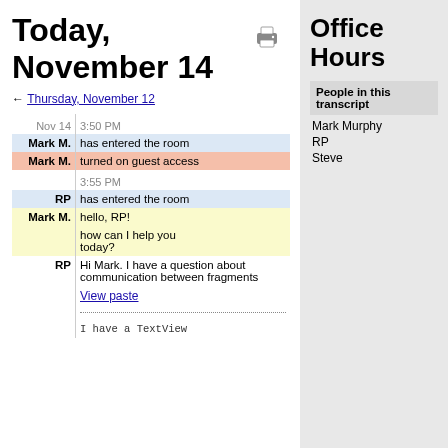Today, November 14
← Thursday, November 12
| Who | Message |
| --- | --- |
| Nov 14 | 3:50 PM |
| Mark M. | has entered the room |
| Mark M. | turned on guest access |
|  | 3:55 PM |
| RP | has entered the room |
| Mark M. | hello, RP!
how can I help you today? |
| RP | Hi Mark. I have a question about communication between fragments |
|  | View paste |
|  | I have a TextView |
People in this transcript
Mark Murphy
RP
Steve